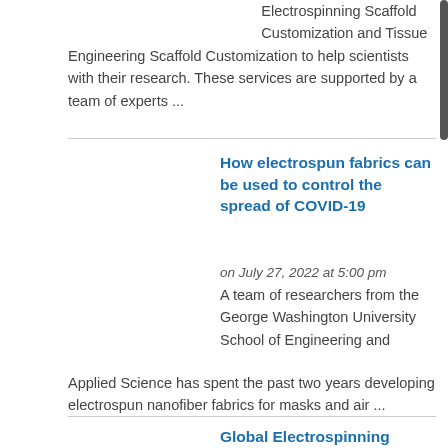Electrospinning Scaffold Customization and Tissue Engineering Scaffold Customization to help scientists with their research. These services are supported by a team of experts ...
How electrospun fabrics can be used to control the spread of COVID-19
on July 27, 2022 at 5:00 pm
A team of researchers from the George Washington University School of Engineering and Applied Science has spent the past two years developing electrospun nanofiber fabrics for masks and air ...
Global Electrospinning Devices Market 2022 - Worldwide